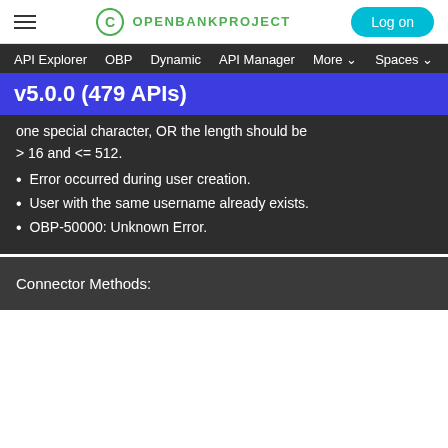OPENBANKPROJECT | Log on
API Explorer   OBP   Dynamic   API Manager   More   Spaces
v5.0.0 (479 APIs)
one special character, OR the length should be > 16 and <= 512.
Error occurred during user creation.
User with the same username already exists.
OBP-50000: Unknown Error.
Connector Methods: